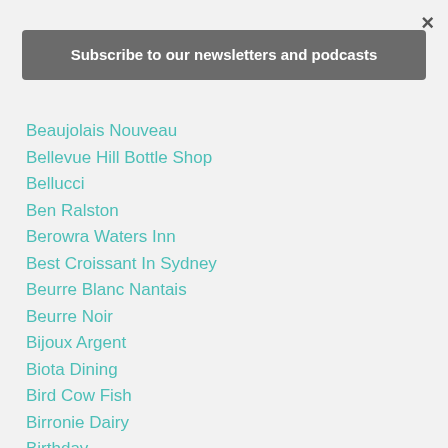×
Subscribe to our newsletters and podcasts
Beaujolais Nouveau
Bellevue Hill Bottle Shop
Bellucci
Ben Ralston
Berowra Waters Inn
Best Croissant In Sydney
Beurre Blanc Nantais
Beurre Noir
Bijoux Argent
Biota Dining
Bird Cow Fish
Birronie Dairy
Birthday
Bistrots De Chefs
Bitton Gourmet
Blanquette De Veau